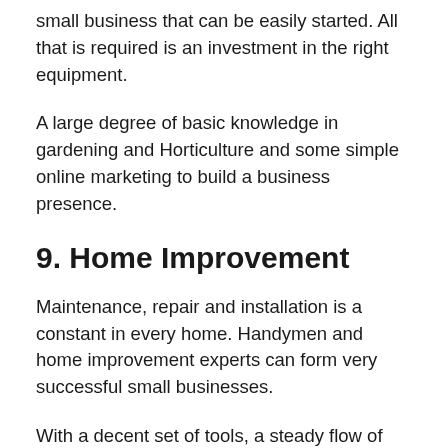small business that can be easily started. All that is required is an investment in the right equipment.
A large degree of basic knowledge in gardening and Horticulture and some simple online marketing to build a business presence.
9. Home Improvement
Maintenance, repair and installation is a constant in every home. Handymen and home improvement experts can form very successful small businesses.
With a decent set of tools, a steady flow of